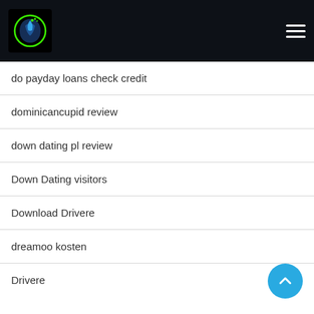Website navigation header with logo and hamburger menu
do payday loans check credit
dominicancupid review
down dating pl review
Down Dating visitors
Download Drivere
dreamoo kosten
Drivere